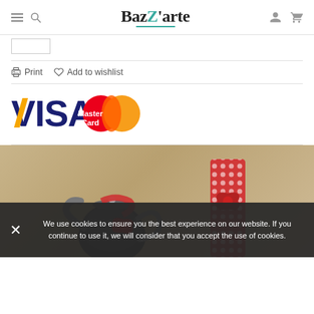Bazarte
[Figure (logo): Visa and MasterCard payment logos]
Print  Add to wishlist
[Figure (photo): Product photo: decorated items with red bows and polka-dot wrapping against a warm beige background]
We use cookies to ensure you the best experience on our website. If you continue to use it, we will consider that you accept the use of cookies.